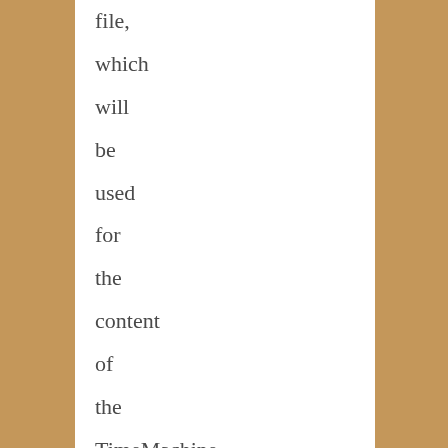file, which will be used for the content of the TimeMachine backups. This can be done with the Terminal.app. The naming of the